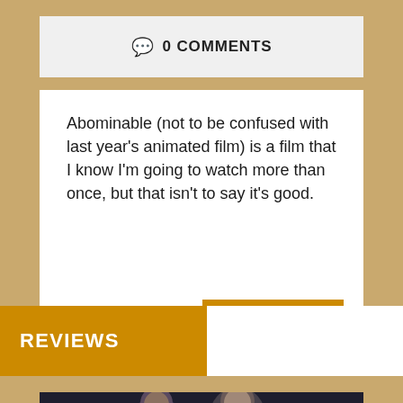0 COMMENTS
Abominable (not to be confused with last year's animated film) is a film that I know I'm going to watch more than once, but that isn't to say it's good.
READ MORE
REVIEWS
[Figure (photo): Two men in a bowling alley setting, partially visible at bottom of page]